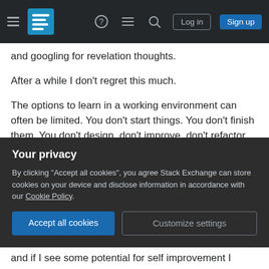Stack Exchange navigation bar with hamburger menu, logo, help, chat, search icons, Log in and Sign up buttons
and googling for revelation thoughts.
After a while I don't regret this much.
The options to learn in a working environment can often be limited. You don't start things. You don't finish them. You don't design, don't improve, don't refactor, don't think about architecture, you just code and hack things together. It's how most of the shops work. Not only you don't learn anything, it's more likely that you will learn mostly wrong things how NOT to develop software. I've been continuously
Your privacy
By clicking "Accept all cookies", you agree Stack Exchange can store cookies on your device and disclose information in accordance with our Cookie Policy.
Accept all cookies   Customize settings
and if I see some potential for self improvement I